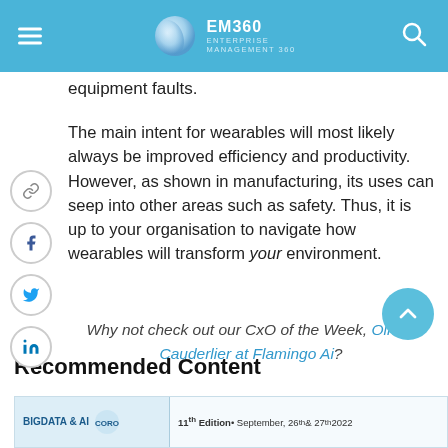EM360 Enterprise Management 360
equipment faults.
The main intent for wearables will most likely always be improved efficiency and productivity. However, as shown in manufacturing, its uses can seep into other areas such as safety. Thus, it is up to your organisation to navigate how wearables will transform your environment.
Why not check out our CxO of the Week, Olivier Cauderlier at Flamingo Ai?
Recommended Content
[Figure (other): Promotional banner for Big Data & AI event, 11th Edition, September 26th & 27th 2022]